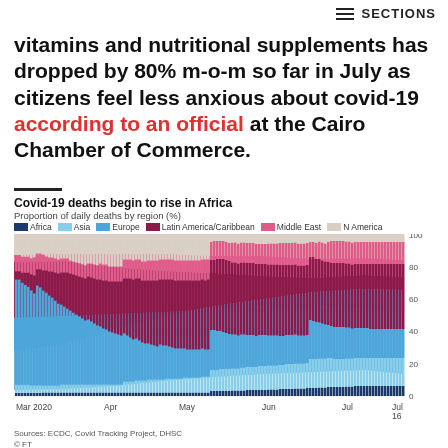≡ SECTIONS
vitamins and nutritional supplements has dropped by 80% m-o-m so far in July as citizens feel less anxious about covid-19 according to an official at the Cairo Chamber of Commerce.
Covid-19 deaths begin to rise in Africa
Proportion of daily deaths by region (%)
[Figure (stacked-bar-chart): Covid-19 deaths begin to rise in Africa]
Sources: ECDC, Covid Tracking Project, DHSC
© FT